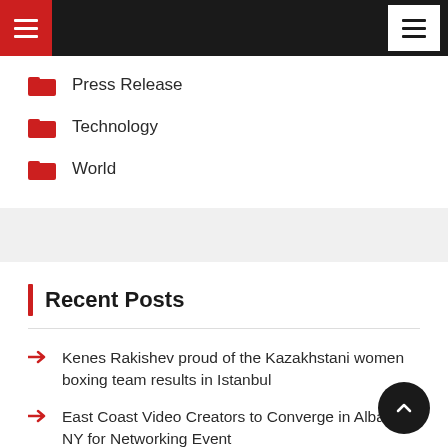Navigation bar with hamburger menus
Press Release
Technology
World
Recent Posts
Kenes Rakishev proud of the Kazakhstani women boxing team results in Istanbul
East Coast Video Creators to Converge in Albany, NY for Networking Event
Home Savers Community Group Now Helps with Past Due Property Taxes